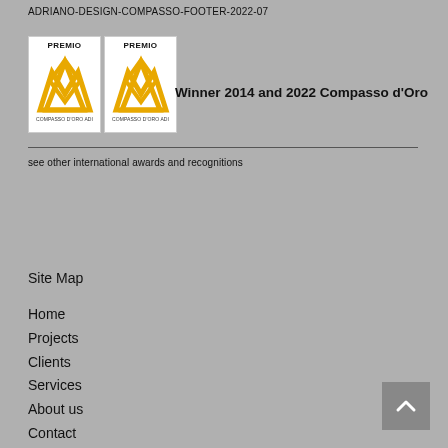ADRIANO-DESIGN-COMPASSO-FOOTER-2022-07
[Figure (logo): Two Premio Compasso d'Oro ADI award badges side by side, each showing a gold geometric M/compass logo on white background with 'PREMIO' text at top and 'COMPASSO D'ORO ADI' text at bottom.]
Winner 2014 and 2022 Compasso d'Oro
see other international awards and recognitions
Site Map
Home
Projects
Clients
Services
About us
Contact
News